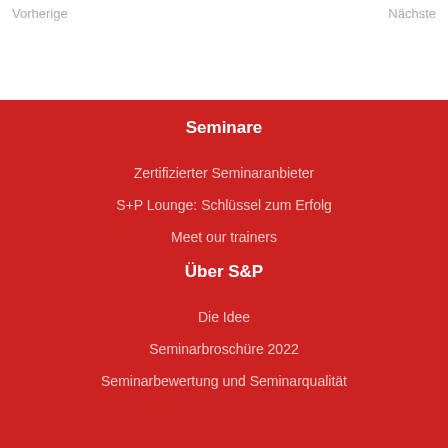Vorherige   Nächste
Seminare
Zertifizierter Seminaranbieter
S+P Lounge: Schlüssel zum Erfolg
Meet our trainers
Über S&P
Die Idee
Seminarbroschüre 2022
Seminarbewertung und Seminarqualität